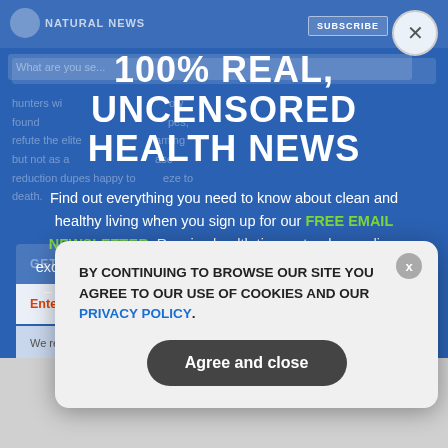100% REAL, UNCENSORED HEALTH NEWS
Find out everything you need to know about clean and healthy living when you sign up for our FREE EMAIL NEWSLETTER. Receive health tips, natural remedies, exclusive in-depth reports on superfoods, toxins, and more – what the mainstream media doesn't want you to know!
BY CONTINUING TO BROWSE OUR SITE YOU AGREE TO OUR USE OF COOKIES AND OUR PRIVACY POLICY.
Agree and close